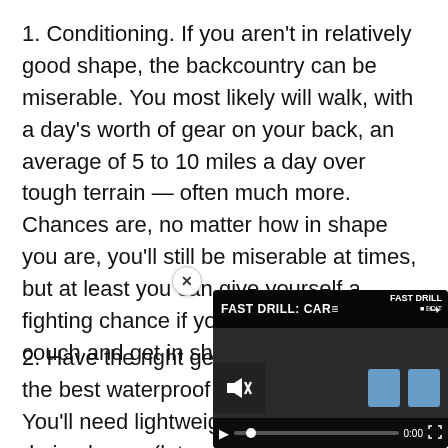1. Conditioning. If you aren't in relatively good shape, the backcountry can be miserable. You most likely will walk, with a day's worth of gear on your back, an average of 5 to 10 miles a day over tough terrain — often much more. Chances are, no matter how in shape you are, you'll still be miserable at times, but at least you can give yourself a fighting chance if you get your ass off the couch and get in shape ahead of time.
2. Have the right gear. It's the best waterproof hiking You'll need lightweight, bre drying layers (lots of them)
[Figure (screenshot): Embedded video player overlay showing 'FAST DRILL: CAR' with mute icon, blue target icons, play button, progress bar at 0:00, and fullscreen button. A close (x) button appears at top-left of the overlay.]